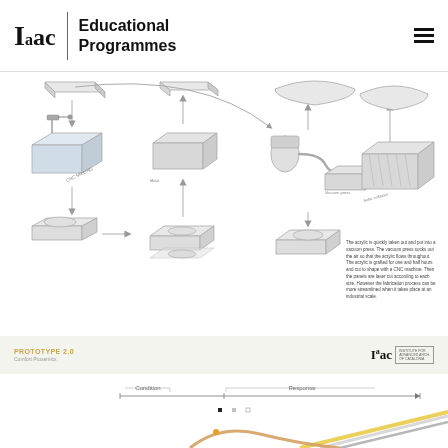Iaac | Educational Programmes
[Figure (infographic): Exploded axonometric diagram showing the fabrication process of acrylic prototype panels using CNC milling and vacuum press forming. Steps shown include raw acrylic sheet, CNC milling machine, vacuum press, heated/formed panels, and final assembled box-shaped product. Arrows indicate workflow sequence.]
The acrylic is quickly taken out and put into a vacuum press. The vacuum press sucks out the air so that the acrylic flows throughout. The acrylic is grafted for one and half hours and cut to shape with a CNC machine. Then the panels are laser cut according to each size. However the fabrication process can be more streamlined when it takes place at an industrial scale.
PROTOTYPE 2.0
Comfort Proxemics
[Figure (infographic): Bottom section showing a condition-response diagram with a timeline axis. The left portion is labeled 'Condition' and the right portion 'Response'. Below the axis, colorful angular line chart elements are visible (partial, cut off at page bottom).]